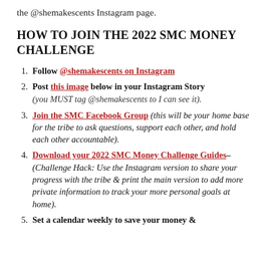the @shemakescents Instagram page.
HOW TO JOIN THE 2022 SMC MONEY CHALLENGE
Follow @shemakescents on Instagram
Post this image below in your Instagram Story (you MUST tag @shemakescents to I can see it).
Join the SMC Facebook Group (this will be your home base for the tribe to ask questions, support each other, and hold each other accountable).
Download your 2022 SMC Money Challenge Guides– (Challenge Hack: Use the Instagram version to share your progress with the tribe & print the main version to add more private information to track your more personal goals at home).
Set a calendar weekly to save your money &